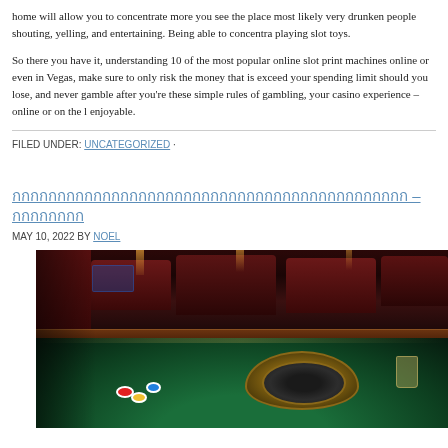home will allow you to concentrate more you see the place most likely very drunken people shouting, yelling, and entertaining. Being able to concentra playing slot toys.
So there you have it, understanding 10 of the most popular online slot print machines online or even in Vegas, make sure to only risk the money that is exceed your spending limit should you lose, and never gamble after you're these simple rules of gambling, your casino experience – online or on the l enjoyable.
FILED UNDER: UNCATEGORIZED ·
กกกกกกกกกกกกกกกกกกกกกกกกกกกกกกกกกกกกกกกกกกกก — กกกกกกกก
MAY 10, 2022 BY NOEL
[Figure (photo): A casino interior showing a roulette table with roulette wheel in foreground, casino chairs and tables in background with dark red/maroon decor. A glass is visible on the table.]